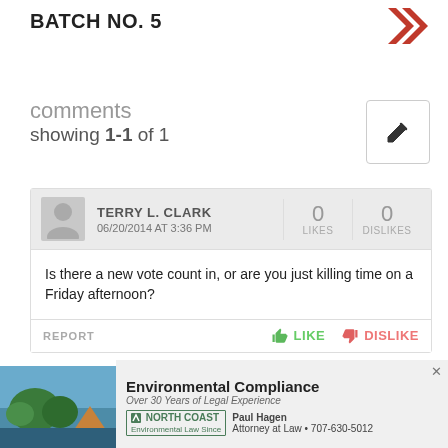BATCH NO. 5
comments
showing 1-1 of 1
| User | Likes | Dislikes |
| --- | --- | --- |
| TERRY L. CLARK 06/20/2014 AT 3:36 PM | 0 | 0 |
Is there a new vote count in, or are you just killing time on a Friday afternoon?
REPORT    LIKE    DISLIKE
Add a comment
[Figure (infographic): Advertisement banner: Environmental Compliance, Over 30 Years of Legal Experience, North Coast, Paul Hagen, Attorney at Law • 707-630-5012, with scenic coastal photo on the left.]